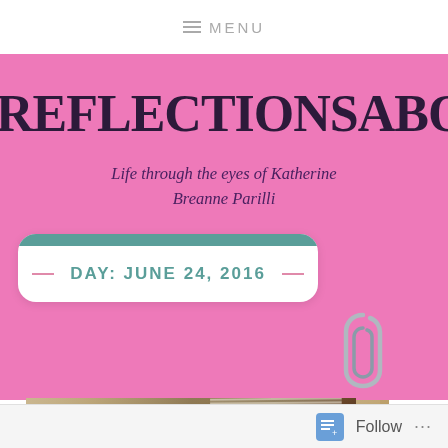MENU
REFLECTIONSABOUTLIFEDO
Life through the eyes of Katherine Breanne Parilli
DAY: JUNE 24, 2016
[Figure (photo): Photo of a person reading an open book, closeup of hands holding a Bible or thick book with a bookmark clip]
Follow ...